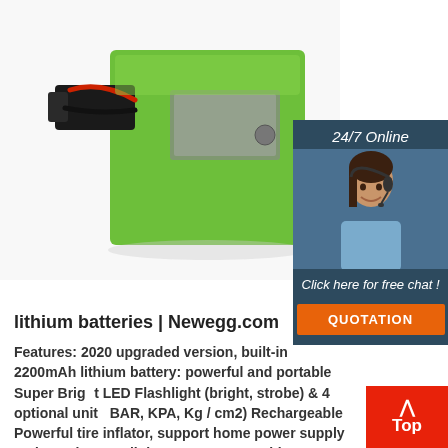[Figure (photo): Green lithium battery pack with wires and connector on white background]
[Figure (infographic): 24/7 Online customer service chat widget with woman wearing headset, orange QUOTATION button, and 'Click here for free chat!' text]
lithium batteries | Newegg.com
Features: 2020 upgraded version, built-in 2200mAh lithium battery: powerful and portable Super Bright LED Flashlight (bright, strobe) & 4 optional units (PSI, BAR, KPA, Kg / cm2) Rechargeable Powerful tire inflator, support home power supply and car cigarette lighter LCD screen with backlight, accurate reading at